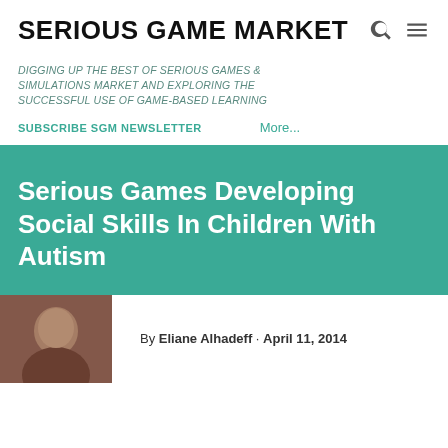SERIOUS GAME MARKET
DIGGING UP THE BEST OF SERIOUS GAMES & SIMULATIONS MARKET AND EXPLORING THE SUCCESSFUL USE OF GAME-BASED LEARNING
SUBSCRIBE SGM NEWSLETTER    More...
Serious Games Developing Social Skills In Children With Autism
By Eliane Alhadeff · April 11, 2014